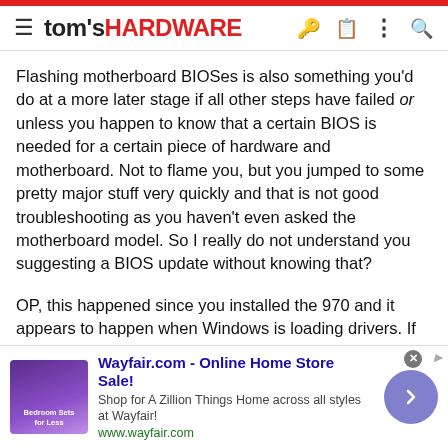tom's HARDWARE
Flashing motherboard BIOSes is also something you'd do at a more later stage if all other steps have failed or unless you happen to know that a certain BIOS is needed for a certain piece of hardware and motherboard. Not to flame you, but you jumped to some pretty major stuff very quickly and that is not good troubleshooting as you haven't even asked the motherboard model. So I really do not understand you suggesting a BIOS update without knowing that?
OP, this happened since you installed the 970 and it appears to happen when Windows is loading drivers. If you have installed these drivers correctly, which I expect you have, I'd be trying the card in another system to ensure that the hardware itself is okay. If the issue follows the hardware, the hardware is at fault. Where did you get the 970?
Also, your power supply just says '750 Watt'. That is not enough
[Figure (screenshot): Wayfair.com advertisement banner - Online Home Store Sale! Shop for A Zillion Things Home across all styles at Wayfair! www.wayfair.com]